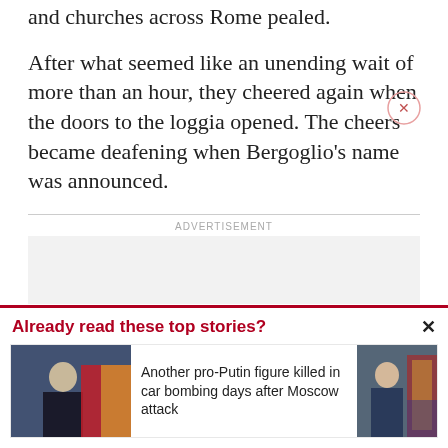and churches across Rome pealed.
After what seemed like an unending wait of more than an hour, they cheered again when the doors to the loggia opened. The cheers became deafening when Bergoglio’s name was announced.
ADVERTISEMENT
[Figure (other): Advertisement placeholder box]
Already read these top stories?
[Figure (photo): Photo of Putin-linked figure in dark suit sitting at table with Russian flag in background]
Another pro-Putin figure killed in car bombing days after Moscow attack
[Figure (photo): Partially visible photo of person in suit speaking with American flag in background]